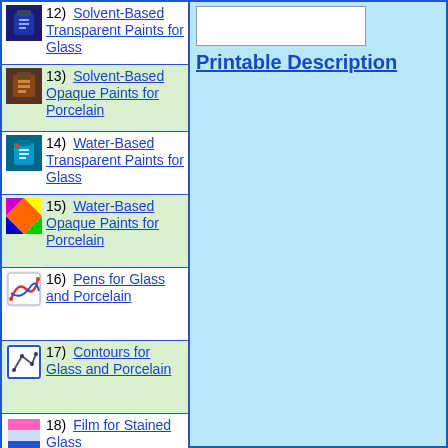12) Solvent-Based Transparent Paints for Glass
13) Solvent-Based Opaque Paints for Porcelain
14) Water-Based Transparent Paints for Glass
15) Water-Based Opaque Paints for Porcelain
16) Pens for Glass and Porcelain
17) Contours for Glass and Porcelain
18) Film for Stained Glass
19) Medium,
Printable Description